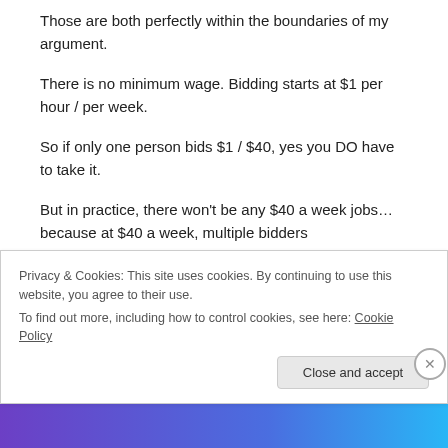Those are both perfectly within the boundaries of my argument.
There is no minimum wage. Bidding starts at $1 per hour / per week.
So if only one person bids $1 / $40, yes you DO have to take it.
But in practice, there won't be any $40 a week jobs… because at $40 a week, multiple bidders
Privacy & Cookies: This site uses cookies. By continuing to use this website, you agree to their use.
To find out more, including how to control cookies, see here: Cookie Policy